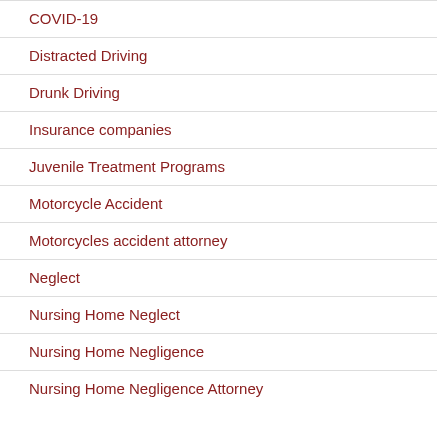COVID-19
Distracted Driving
Drunk Driving
Insurance companies
Juvenile Treatment Programs
Motorcycle Accident
Motorcycles accident attorney
Neglect
Nursing Home Neglect
Nursing Home Negligence
Nursing Home Negligence Attorney